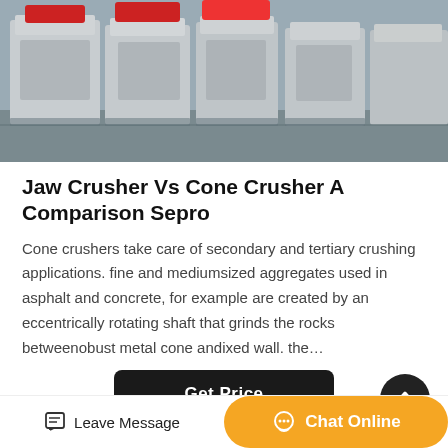[Figure (photo): Industrial crushing/pressing machines (jaw crushers or similar heavy machinery) in a factory setting, with white and red colored machines on a gray concrete floor.]
Jaw Crusher Vs Cone Crusher A Comparison Sepro
Cone crushers take care of secondary and tertiary crushing applications. fine and mediumsized aggregates used in asphalt and concrete, for example are created by an eccentrically rotating shaft that grinds the rocks betweenobust metal cone andixed wall. the…
Hot Product